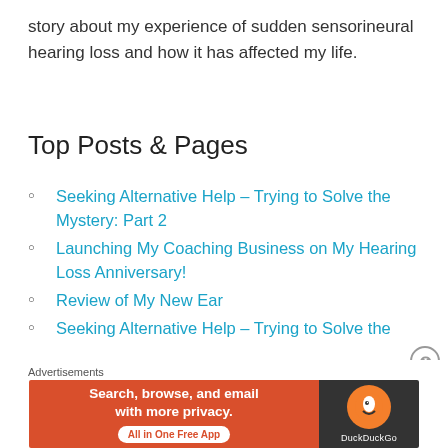story about my experience of sudden sensorineural hearing loss and how it has affected my life.
Top Posts & Pages
Seeking Alternative Help – Trying to Solve the Mystery: Part 2
Launching My Coaching Business on My Hearing Loss Anniversary!
Review of My New Ear
Seeking Alternative Help – Trying to Solve the
[Figure (screenshot): DuckDuckGo advertisement banner: orange/red background with text 'Search, browse, and email with more privacy. All in One Free App' and DuckDuckGo logo on dark right panel]